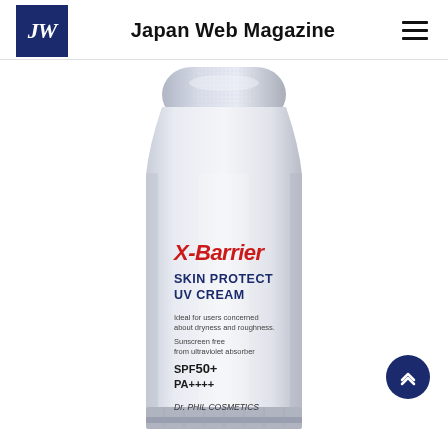Japan Web Magazine
[Figure (photo): White tube of X-Barrier Skin Protect UV Cream by Dr. Phil Cosmetics. The tube label shows: X-Barrier in red bold italic, SKIN PROTECT UV CREAM in dark navy bold, 'Ideal for users concerned about dryness and roughness.', 'Sunscreen free from ultraviolet absorber', SPF50+ PA++++, Dr. PHIL COSMETICS]